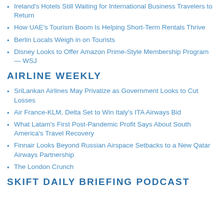Ireland's Hotels Still Waiting for International Business Travelers to Return
How UAE's Tourism Boom Is Helping Short-Term Rentals Thrive
Berlin Locals Weigh in on Tourists
Disney Looks to Offer Amazon Prime-Style Membership Program — WSJ
AIRLINE WEEKLY
SriLankan Airlines May Privatize as Government Looks to Cut Losses
Air France-KLM, Delta Set to Win Italy's ITA Airways Bid
What Latam's First Post-Pandemic Profit Says About South America's Travel Recovery
Finnair Looks Beyond Russian Airspace Setbacks to a New Qatar Airways Partnership
The London Crunch
SKIFT DAILY BRIEFING PODCAST